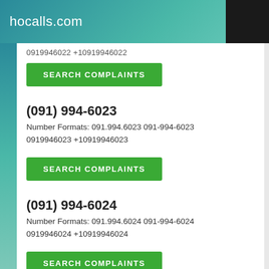hocalls.com
0919946022 +10919946022
SEARCH COMPLAINTS
(091) 994-6023
Number Formats: 091.994.6023 091-994-6023 0919946023 +10919946023
SEARCH COMPLAINTS
(091) 994-6024
Number Formats: 091.994.6024 091-994-6024 0919946024 +10919946024
SEARCH COMPLAINTS
(091) 994-6025
Number Formats: 091.994.6025 091-994-6025 0919946025 +10919946025